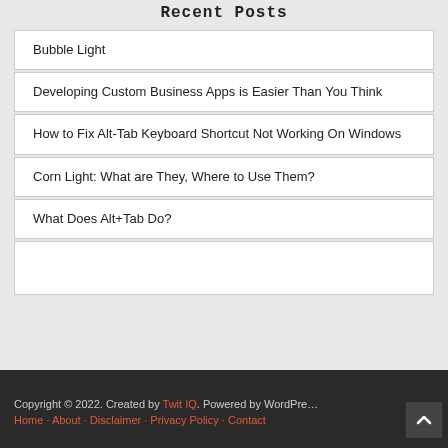Recent Posts
Bubble Light
Developing Custom Business Apps is Easier Than You Think
How to Fix Alt-Tab Keyboard Shortcut Not Working On Windows
Corn Light: What are They, Where to Use Them?
What Does Alt+Tab Do?
Copyright © 2022. Created by Twit IQ. Powered by WordPress
Home · About · Disclaimer · Privacy Policy · Contact